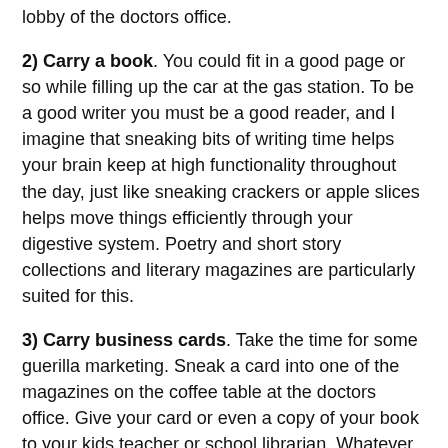lobby of the doctors office.
2) Carry a book. You could fit in a good page or so while filling up the car at the gas station. To be a good writer you must be a good reader, and I imagine that sneaking bits of writing time helps your brain keep at high functionality throughout the day, just like sneaking crackers or apple slices helps move things efficiently through your digestive system. Poetry and short story collections and literary magazines are particularly suited for this.
3) Carry business cards. Take the time for some guerilla marketing. Sneak a card into one of the magazines on the coffee table at the doctors office. Give your card or even a copy of your book to your kids teacher or school librarian. Whatever you think might work.
4) Carry a planner. With writing time tightly squeezed, its useful to plan ahead and know exactly when you will be able to actually sit down and write. Even if its just ten minute chunks. And then, once you know when you'll be at your computer, while you are out and about, plan ahead and know